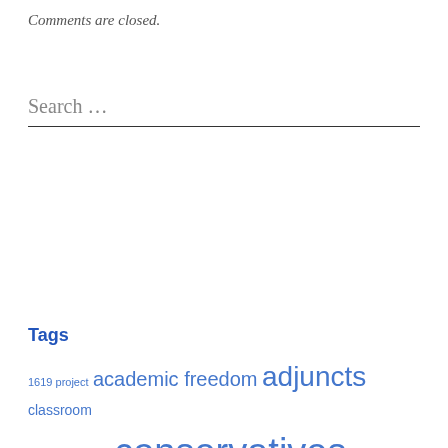Comments are closed.
Search …
Tags
1619 project academic freedom adjuncts classroom management conservatives covid-19 crisis of higher education design evangelicalism extremism francis schaeffer higher education historical fiction historical thinking historiography how should we then live humanities ideological diversity instructional technology lectures liberal arts liberals narrative nationalism new